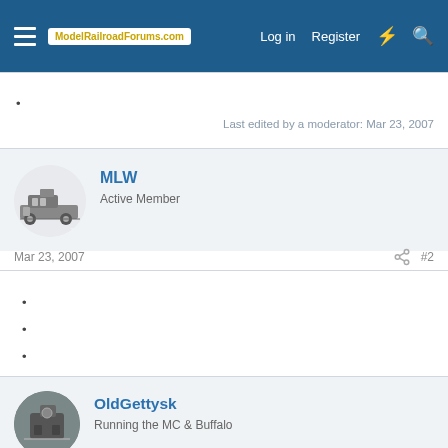ModelRailroadForums.com   Log in   Register
Last edited by a moderator: Mar 23, 2007
MLW
Active Member
Mar 23, 2007   #2
.
.
.
OldGettysk
Running the MC & Buffalo